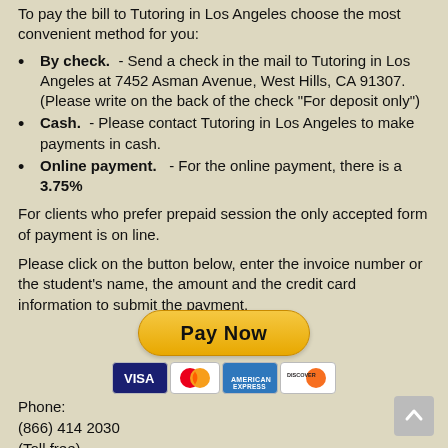To pay the bill to Tutoring in Los Angeles choose the most convenient method for you:
By check. - Send a check in the mail to Tutoring in Los Angeles at 7452 Asman Avenue, West Hills, CA 91307. (Please write on the back of the check "For deposit only")
Cash. - Please contact Tutoring in Los Angeles to make payments in cash.
Online payment. - For the online payment, there is a 3.75%
For clients who prefer prepaid session the only accepted form of payment is on line.
Please click on the button below, enter the invoice number or the student's name, the amount and the credit card information to submit the payment.
[Figure (other): PayPal Pay Now button with Visa, Mastercard, American Express, and Discover card logos below]
Phone:
(866) 414 2030
(Toll free)